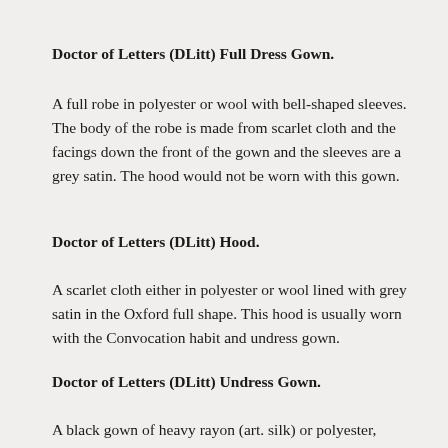Doctor of Letters (DLitt) Full Dress Gown.
A full robe in polyester or wool with bell-shaped sleeves. The body of the robe is made from scarlet cloth and the facings down the front of the gown and the sleeves are a grey satin. The hood would not be worn with this gown.
Doctor of Letters (DLitt) Hood.
A scarlet cloth either in polyester or wool lined with grey satin in the Oxford full shape. This hood is usually worn with the Convocation habit and undress gown.
Doctor of Letters (DLitt) Undress Gown.
A black gown of heavy rayon (art. silk) or polyester,